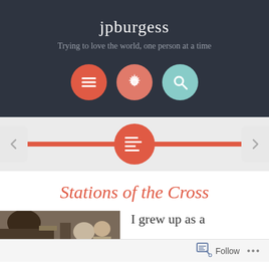jpburgess
Trying to love the world, one person at a time
[Figure (screenshot): Three circular icon buttons: hamburger menu (red), settings gear (salmon/red), and search magnifier (teal)]
[Figure (screenshot): Navigation bar with red horizontal bar, centered red circle with list/menu icon, left arrow button, right arrow button]
Stations of the Cross
[Figure (photo): Photo showing people in a church or similar indoor setting]
I grew up as a
Follow  ...